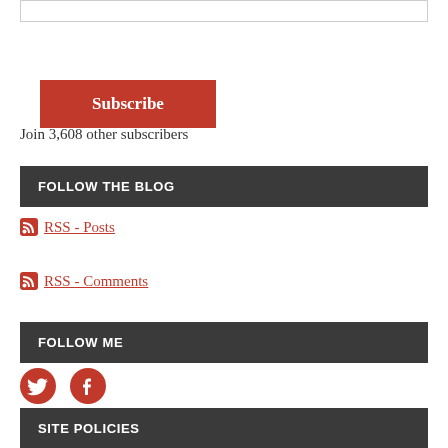Email Address (input box)
Subscribe
Join 3,608 other subscribers
FOLLOW THE BLOG
RSS - Posts
RSS - Comments
FOLLOW ME
[Figure (illustration): Twitter and Facebook social media icons in red]
SITE POLICIES